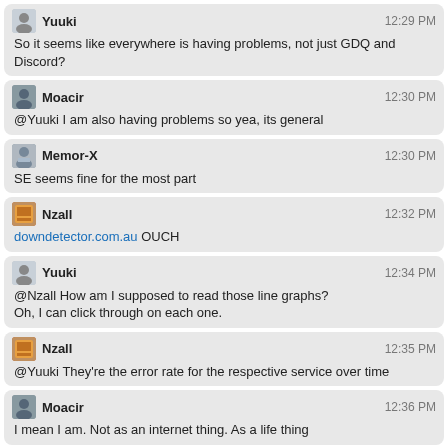Yuuki 12:29 PM — So it seems like everywhere is having problems, not just GDQ and Discord?
Moacir 12:30 PM — @Yuuki I am also having problems so yea, its general
Memor-X 12:30 PM — SE seems fine for the most part
Nzall 12:32 PM — downdetector.com.au OUCH
Yuuki 12:34 PM — @Nzall How am I supposed to read those line graphs? Oh, I can click through on each one.
Nzall 12:35 PM — @Yuuki They're the error rate for the respective service over time
Moacir 12:36 PM — I mean I am. Not as an internet thing. As a life thing
Nzall 12:39 PM — Ah, the outage is at Cloudflare
bleepingcomputer.com/news/technology/...
It's a route leak